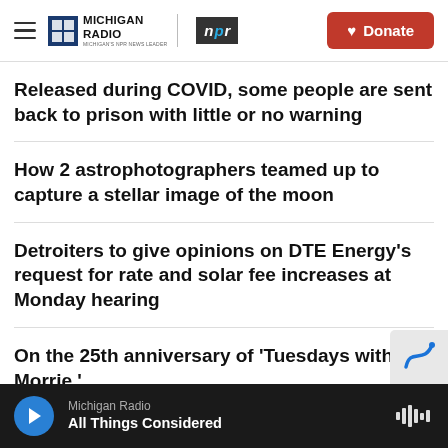Michigan Radio | NPR — Donate
Released during COVID, some people are sent back to prison with little or no warning
How 2 astrophotographers teamed up to capture a stellar image of the moon
Detroiters to give opinions on DTE Energy's request for rate and solar fee increases at Monday hearing
On the 25th anniversary of 'Tuesdays with Morrie,'
Michigan Radio — All Things Considered